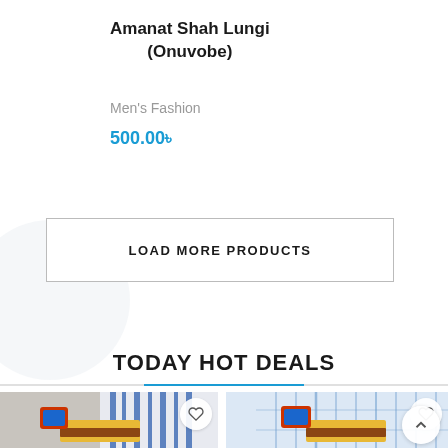Amanat Shah Lungi (Onuvobe)
Men's Fashion
500.00৳
LOAD MORE PRODUCTS
TODAY HOT DEALS
[Figure (photo): Product photo of a lungi fabric with blue stripes and a brand label, with a heart/wishlist button overlay]
[Figure (photo): Product photo of a light blue checked lungi fabric with a brand label, with a heart/wishlist button overlay]